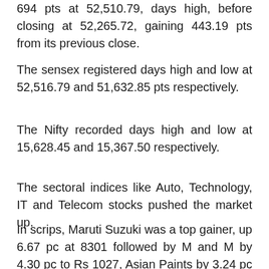694 pts at 52,510.79, days high, before closing at 52,265.72, gaining 443.19 pts from its previous close.
The sensex registered days high and low at 52,516.79 and 51,632.85 pts respectively.
The Nifty recorded days high and low at 15,628.45 and 15,367.50 respectively.
The sectoral indices like Auto, Technology, IT and Telecom stocks pushed the market up.
In scrips, Maruti Suzuki was a top gainer, up 6.67 pc at 8301 followed by M and M by 4.30 pc to Rs 1027, Asian Paints by 3.24 pc to Rs 2754.80, Bharti Airtel by 2.96 pc to Rs 661.80 and TCS by 2.78 pc to Rs 3311.70.